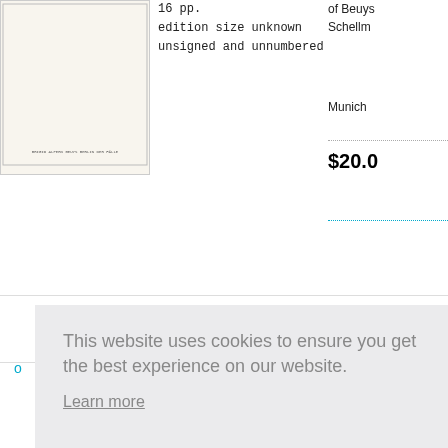[Figure (photo): Book thumbnail - light cream/off-white cover with small text at bottom]
16 pp.
edition size unknown
unsigned and unnumbered
of Beuys Schellm
Munich
$20.0
This website uses cookies to ensure you get the best experience on our website.
Learn more
Got it!